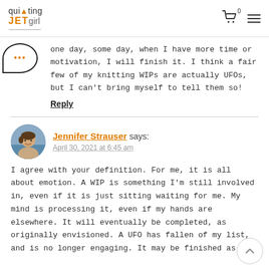quilting JETgirl
one day, some day, when I have more time or motivation, I will finish it. I think a fair few of my knitting WIPs are actually UFOs, but I can't bring myself to tell them so!
Reply
Jennifer Strauser says: April 30, 2021 at 6:45 am
I agree with your definition. For me, it is all about emotion. A WIP is something I’m still involved in, even if it is just sitting waiting for me. My mind is processing it, even if my hands are elsewhere. It will eventually be completed, as originally envisioned. A UFO has fallen of my list, and is no longer engaging. It may be finished as